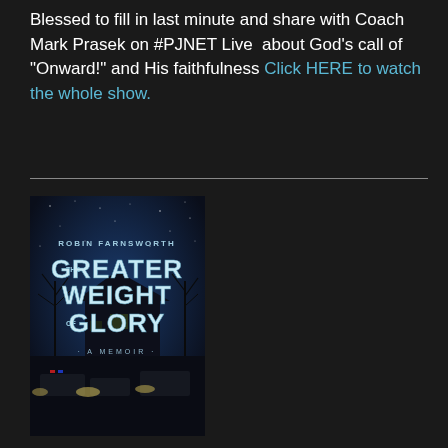Blessed to fill in last minute and share with Coach Mark Prasek on #PJNET Live  about God's call of "Onward!" and His faithfulness Click HERE to watch the whole show.
[Figure (illustration): Book cover for 'The Greater Weight of Glory' by Robin Farnsworth, subtitled 'A Memoir'. Dark blue background with winter night sky and bare trees, a house in the background, and emergency vehicles in the foreground.]